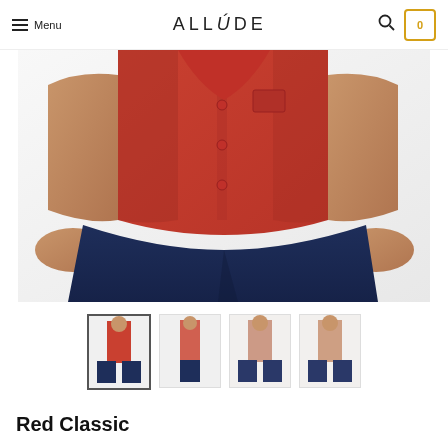Menu | ALLÚDE | 0
[Figure (photo): Close-up of a man wearing a red short-sleeve button-up shirt with navy blue shorts. Photo cropped to show torso and hands.]
[Figure (photo): Four thumbnail views of the red classic shirt: front full, side, back, and three-quarter view.]
Red Classic